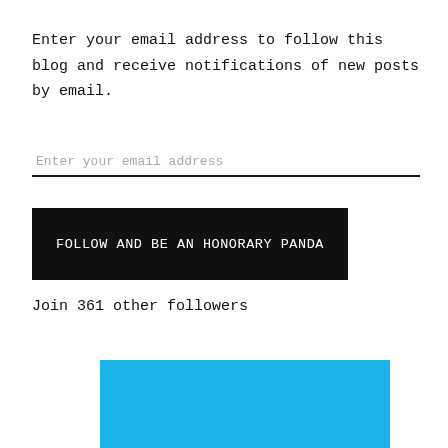Enter your email address to follow this blog and receive notifications of new posts by email.
Enter your email address
FOLLOW AND BE AN HONORARY PANDA
Join 361 other followers
[Figure (other): Solid cyan/light-blue rectangle at the bottom of the page]